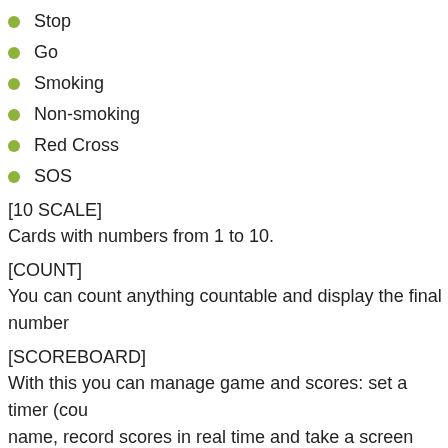Stop
Go
Smoking
Non-smoking
Red Cross
SOS
[10 SCALE]
Cards with numbers from 1 to 10.
[COUNT]
You can count anything countable and display the final number
[SCOREBOARD]
With this you can manage game and scores: set a timer (cou name, record scores in real time and take a screen shot for th completed you can only pause/resume the timer or control sc ctions you will need it to set the order.